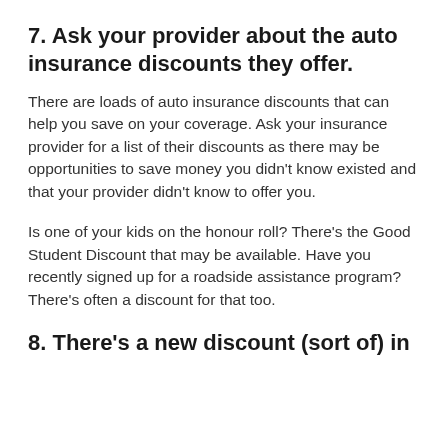7. Ask your provider about the auto insurance discounts they offer.
There are loads of auto insurance discounts that can help you save on your coverage. Ask your insurance provider for a list of their discounts as there may be opportunities to save money you didn't know existed and that your provider didn't know to offer you.
Is one of your kids on the honour roll? There's the Good Student Discount that may be available. Have you recently signed up for a roadside assistance program? There's often a discount for that too.
8. There's a new discount (sort of) in